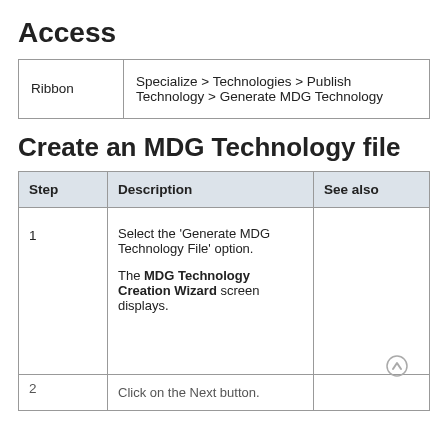Access
|  |  |
| --- | --- |
| Ribbon | Specialize > Technologies > Publish Technology > Generate MDG Technology |
Create an MDG Technology file
| Step | Description | See also |
| --- | --- | --- |
| 1 | Select the 'Generate MDG Technology File' option.

The MDG Technology Creation Wizard screen displays. |  |
| 2 | Click on the Next button. |  |